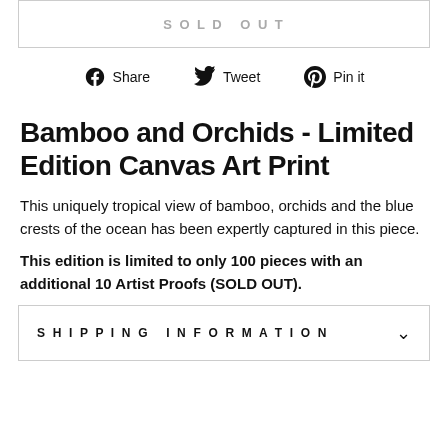SOLD OUT
[Figure (other): Social sharing icons row: Facebook Share, Twitter Tweet, Pinterest Pin it]
Bamboo and Orchids - Limited Edition Canvas Art Print
This uniquely tropical view of bamboo, orchids and the blue crests of the ocean has been expertly captured in this piece.
This edition is limited to only 100 pieces with an additional 10 Artist Proofs (SOLD OUT).
SHIPPING INFORMATION